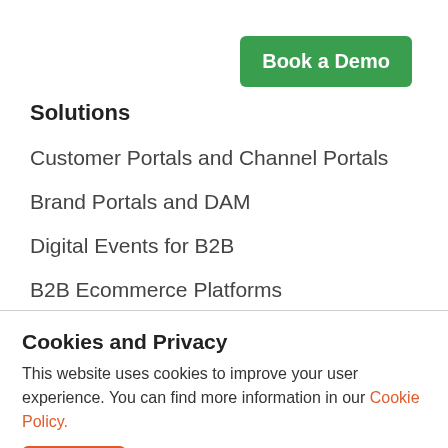Book a Demo
Solutions
Customer Portals and Channel Portals
Brand Portals and DAM
Digital Events for B2B
B2B Ecommerce Platforms
Landing Pages for Lead Generation
Cookies and Privacy
This website uses cookies to improve your user experience. You can find more information in our Cookie Policy.
Accept
Decline